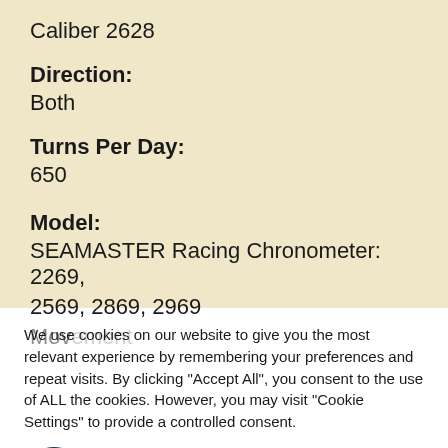Caliber 2628
Direction:
Both
Turns Per Day:
650
Model:
SEAMASTER Racing Chronometer: 2269, 2569, 2869, 2969
We use cookies on our website to give you the most relevant experience by remembering your preferences and repeat visits. By clicking "Accept All", you consent to the use of ALL the cookies. However, you may visit "Cookie Settings" to provide a controlled consent.
Cookie Settings | Accept All